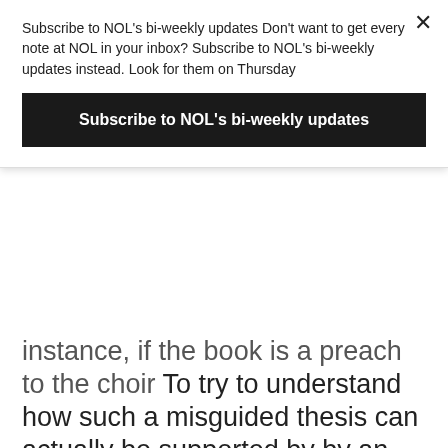Subscribe to NOL's bi-weekly updates Don't want to get every note at NOL in your inbox? Subscribe to NOL's bi-weekly updates instead. Look for them on Thursday
Subscribe to NOL's bi-weekly updates
instance, if the book is a preach to the choir To try to understand how such a misguided thesis can actually be supported by by an author with so little knowledge and expertise on Buchanan and Public Choice. Etc. But a reason why MacLean thinks that their critics are unwilling to consider her thesis is because she is unaware her error is the second one mentioned above. Her thesis is just wrong from the go.